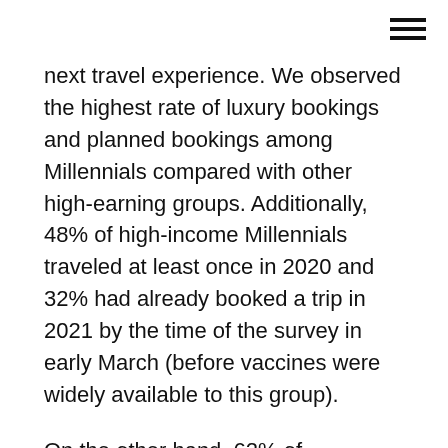≡
next travel experience. We observed the highest rate of luxury bookings and planned bookings among Millennials compared with other high-earning groups. Additionally, 48% of high-income Millennials traveled at least once in 2020 and 32% had already booked a trip in 2021 by the time of the survey in early March (before vaccines were widely available to this group).
On the other hand, 62% of respondents across all demographics planning to spend more than $5,000 on their next trip have not yet made a booking, offering an opportunity for upscale businesses and services to capture the attention